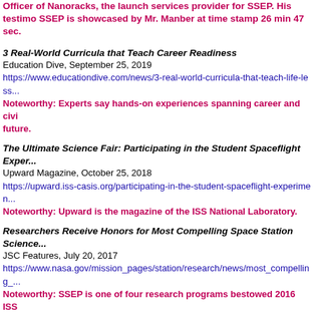Officer of Nanoracks, the launch services provider for SSEP. His testimony about SSEP is showcased by Mr. Manber at time stamp 26 min 47 sec.
3 Real-World Curricula that Teach Career Readiness
Education Dive, September 25, 2019
https://www.educationdive.com/news/3-real-world-curricula-that-teach-life-less...
Noteworthy: Experts say hands-on experiences spanning career and civic future.
The Ultimate Science Fair: Participating in the Student Spaceflight Exper...
Upward Magazine, October 25, 2018
https://upward.iss-casis.org/participating-in-the-student-spaceflight-experimen...
Noteworthy: Upward is the magazine of the ISS National Laboratory.
Researchers Receive Honors for Most Compelling Space Station Science...
JSC Features, July 20, 2017
https://www.nasa.gov/mission_pages/station/research/news/most_compelling_...
Noteworthy: SSEP is one of four research programs bestowed 2016 ISS Spectrometer (AMS); Optical Payload for Lasercomm Science (OPALS); a...
Science to Space
Yahoo Finance, May 29, 2017
https://finance.yahoo.com/news/superintendent-jay-eitner-brings-local-140600...
Noteworthy: a school district superintendent's view of SSEP